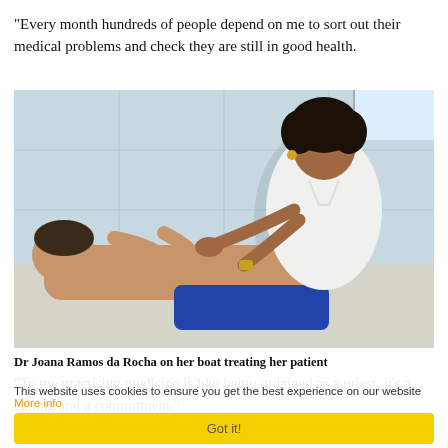"Every month hundreds of people depend on me to sort out their medical problems and check they are still in good health.
[Figure (photo): A female doctor in a white coat examining a child patient lying on an examination table in a clinical setting with white tiled walls.]
Dr Joana Ramos da Rocha on her boat treating her patient
"To me practising medicine is like being ordained as a priest, it's a calling and a commitment."